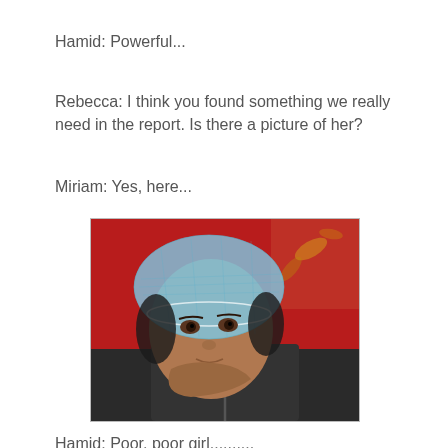Hamid: Powerful...
Rebecca: I think you found something we really need in the report. Is there a picture of her?
Miriam: Yes, here...
[Figure (photo): A young woman lying down wearing a blue hairnet/shower cap, looking up at the camera, with a red patterned background. She is wearing a dark zip-up jacket.]
Hamid: Poor, poor girl..........